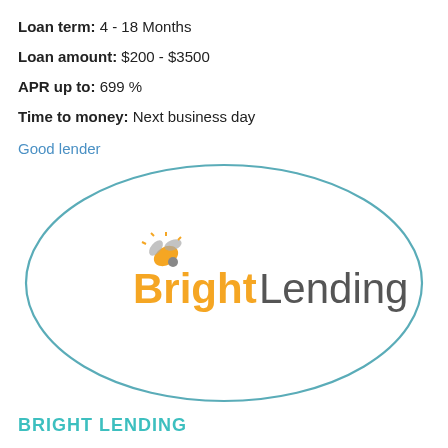Loan term: 4 - 18 Months
Loan amount: $200 - $3500
APR up to: 699 %
Time to money: Next business day
Good lender
[Figure (logo): BrightLending logo inside a teal/blue ellipse outline. The logo shows a stylized bee icon in orange/gray above the text 'Bright' in orange and 'Lending' in gray.]
BRIGHT LENDING